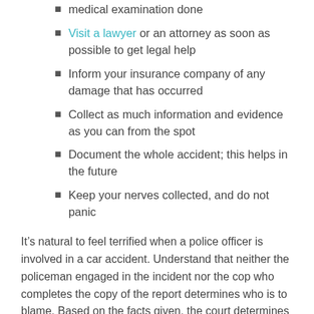medical examination done
Visit a lawyer or an attorney as soon as possible to get legal help
Inform your insurance company of any damage that has occurred
Collect as much information and evidence as you can from the spot
Document the whole accident; this helps in the future
Keep your nerves collected, and do not panic
It’s natural to feel terrified when a police officer is involved in a car accident. Understand that neither the policeman engaged in the incident nor the cop who completes the copy of the report determines who is to blame. Based on the facts given, the court determines who is responsible.
Can a Case Be Pursued Against Policemen?
It’s unlikely that police officers will be spared from